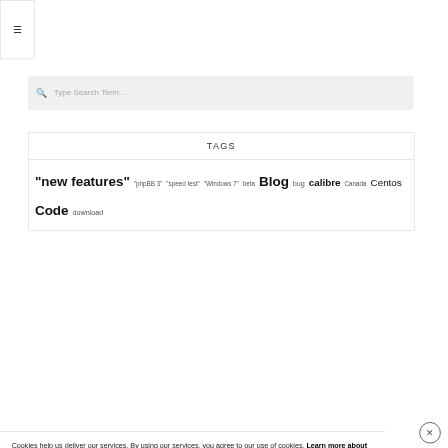[Figure (other): Hamburger menu button icon (three horizontal lines) in top-left corner with border]
Type Search Term ...
TAGS
"new features" "phpBB 3" "speed test" "Windows 7" beta Blog bug calibre Canada Centos Code download
Cookies help us deliver our services. By using our services, you agree to our use of cookies. Learn more about cookies Got it